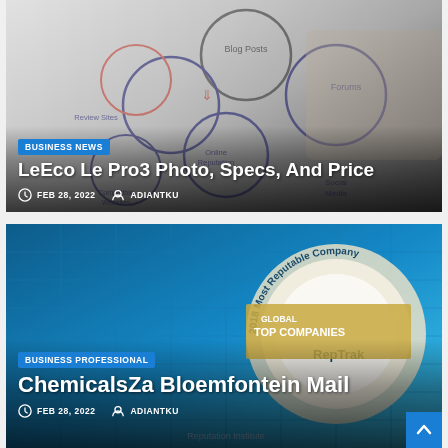[Figure (photo): Article card with background image of hand drawing circles (blog posts, review sites, forums, social media, online reputation concepts). Contains category badge, title, and metadata.]
BUSINESS NEWS
LeEco Le Pro3 Photo, Specs, And Price
FEB 28, 2022   ADIANTKU
[Figure (photo): Article card with background image showing '2018 Most Reputable Company' award/plaque with RepTrak branding and global top companies. Contains category badge, title, and metadata.]
BUSINESS PROFESSIONAL
ChemicalsZa Bloemfontein Mail
FEB 28, 2022   ADIANTKU